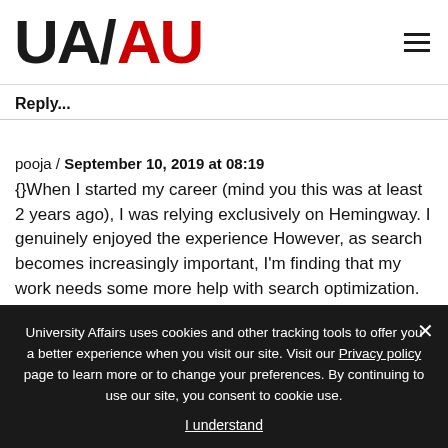UA/AU logo and navigation
Reply...
pooja / September 10, 2019 at 08:19
{}When I started my career (mind you this was at least 2 years ago), I was relying exclusively on Hemingway. I genuinely enjoyed the experience However, as search becomes increasingly important, I'm finding that my work needs some more help with search optimization. INK has helped me do a lot of the heavy lifting in this area. I would definitely love to read your experiences comparing the INK editor vs. Hemingway.{}
University Affairs uses cookies and other tracking tools to offer you a better experience when you visit our site. Visit our Privacy policy page to learn more or to change your preferences. By continuing to use our site, you consent to cookie use.
I understand